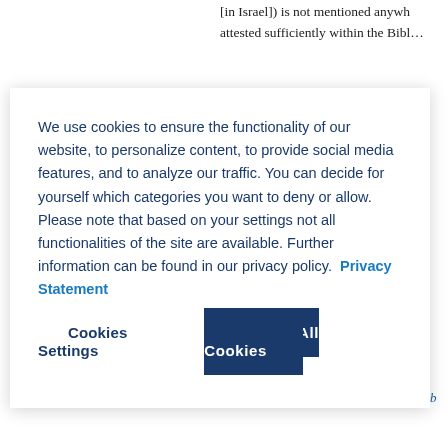[in Israel]) is not mentioned anywh… attested sufficiently within the Bibl…
We use cookies to ensure the functionality of our website, to personalize content, to provide social media features, and to analyze our traffic. You can decide for yourself which categories you want to deny or allow. Please note that based on your settings not all functionalities of the site are available. Further information can be found in our privacy policy.  Privacy Statement
Cookies Settings
Accept All Cookies
(2,804 words)
Author(s): Dietrich, Walter
[German Version] I.  Basis, Disput… of a Deuteronomistic History – II.  Historical Locus and Importance fo… Deuteronomistic History (DeutHis… scholarly hypothesis. It combines th… of the canon with the books Joshu…